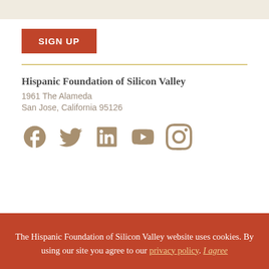[Figure (other): Beige/tan colored box at top of page]
SIGN UP
Hispanic Foundation of Silicon Valley
1961 The Alameda
San Jose, California 95126
[Figure (other): Social media icons: Facebook, Twitter, LinkedIn, YouTube, Instagram in taupe/brown color]
The Hispanic Foundation of Silicon Valley website uses cookies. By using our site you agree to our privacy policy. I agree